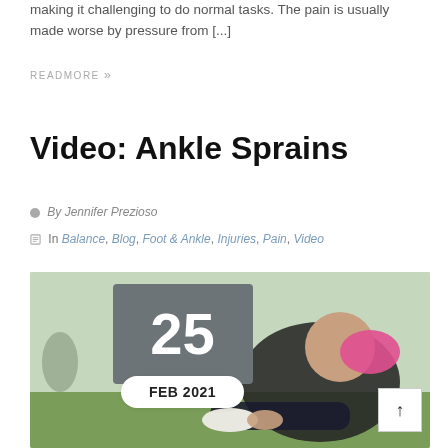making it challenging to do normal tasks. The pain is usually made worse by pressure from [...]
READMORE »
Video: Ankle Sprains
By Jennifer Prezioso
In Balance, Blog, Foot & Ankle, Injuries, Pain, Video
[Figure (photo): Photo of a woman sitting on grass holding her ankle, with a date overlay showing 25 FEB 2021 and a scroll-to-top button]